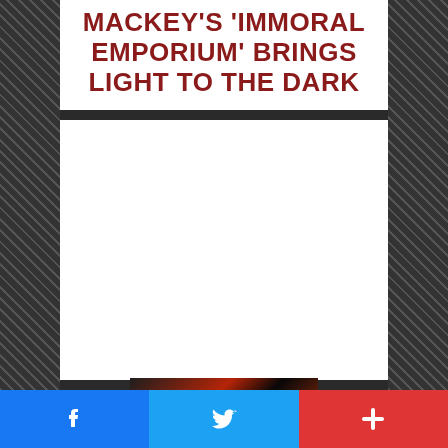MACKEY'S 'IMMORAL EMPORIUM' BRINGS LIGHT TO THE DARK
[Figure (photo): Partial photo visible at bottom of page, dark tones with red highlights, appears to be a person]
Facebook share | Twitter share | More share buttons